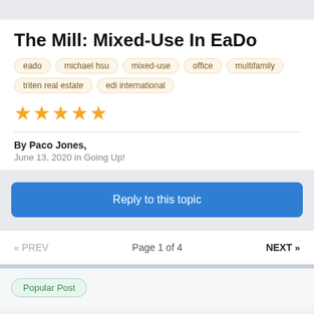The Mill: Mixed-Use In EaDo
eado
michael hsu
mixed-use
office
multifamily
triten real estate
edi international
★★★★★ (5 stars)
By Paco Jones,
June 13, 2020 in Going Up!
Reply to this topic
« PREV    Page 1 of 4    NEXT »
Popular Post